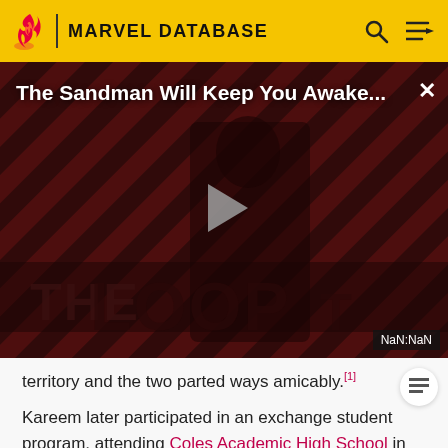MARVEL DATABASE
[Figure (screenshot): Video player showing 'The Sandman Will Keep You Awake...' with diagonal red/dark stripe background, a figure in black, THE LOOP branding, play button, and NaN:NaN timestamp badge.]
territory and the two parted ways amicably.[1]
Kareem later participated in an exchange student program, attending Coles Academic High School in Jersey City, New Jersey while living at the Khan Family